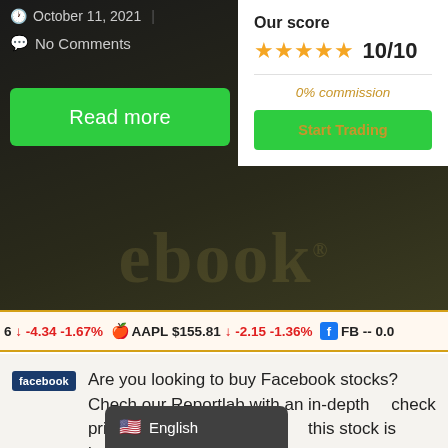October 11, 2021
No Comments
Read more
Our score
★★★★★ 10/10
0% commission
Start Trading
6 ↓ -4.34 -1.67%   AAPL $155.81 ↓ -2.15 -1.36%   FB -- 0.0
[Figure (logo): Facebook logo badge (blue rectangle with 'facebook' text)]
Are you looking to buy Facebook stocks? Chech our Reportlab with an in-depth check prices, statistics and see if this stock is interesting right now.
English